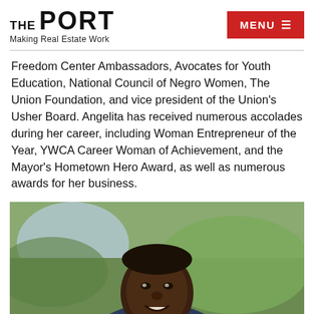THE PORT Making Real Estate Work | MENU
Freedom Center Ambassadors, Avocates for Youth Education, National Council of Negro Women, The Union Foundation, and vice president of the Union's Usher Board. Angelita has received numerous accolades during her career, including Woman Entrepreneur of the Year, YWCA Career Woman of Achievement, and the Mayor's Hometown Hero Award, as well as numerous awards for her business.
[Figure (photo): Portrait photo of a smiling Black man in a suit, photographed outdoors with green foliage in the background.]